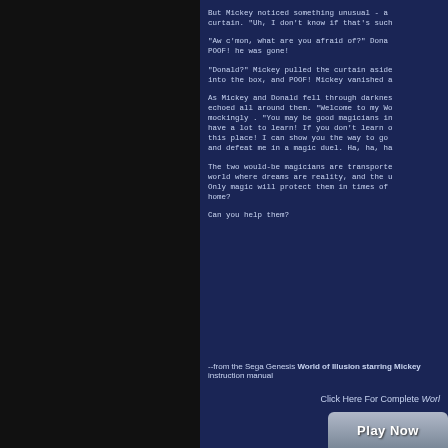But Mickey noticed something unusual - an curtain. "Uh, I don't know if that's such
"Aw c'mon, what are you afraid of?" Dona POOF! he was gone!
"Donald?" Mickey pulled the curtain aside into the box, and POOF! Mickey vanished a
As Mickey and Donald fell through darknes echoed all around them. "Welcome to my Wo mockingly . "You may be good magicians in have a lot to learn! If you don't learn o this place! I can show you the way to go and defeat me in a magic duel. Ha, ha, ha
The two would-be magicians are transporte world where dreams are reality, and the u Only magic will protect them in times of home?
Can you help them?
--from the Sega Genesis World of Illusion starring Mickey instruction manual
Click Here For Complete Worl
[Figure (other): Play Now button]